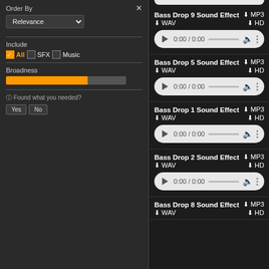Order By
Relevance
Include
All
SFX
Music
Broadness
Found what you needed?
Yes  No
Bass Drop 9 Sound Effect
⬇ MP3  ⬇ WAV  ⬇ HD
[Figure (other): Audio player showing 0:00 / 0:00]
Bass Drop 5 Sound Effect
⬇ MP3  ⬇ WAV  ⬇ HD
[Figure (other): Audio player showing 0:00 / 0:00]
Bass Drop 1 Sound Effect
⬇ MP3  ⬇ WAV  ⬇ HD
[Figure (other): Audio player showing 0:00 / 0:00]
Bass Drop 2 Sound Effect
⬇ MP3  ⬇ WAV  ⬇ HD
[Figure (other): Audio player showing 0:00 / 0:00]
Bass Drop 8 Sound Effect
⬇ MP3  ⬇ WAV  ⬇ HD